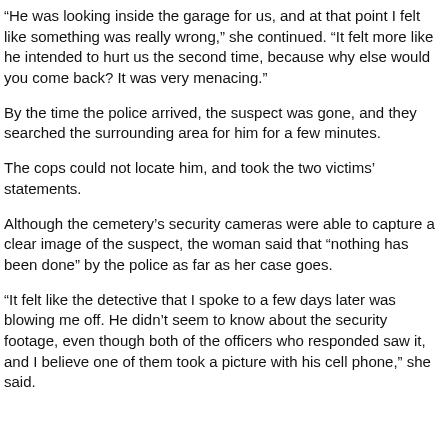“He was looking inside the garage for us, and at that point I felt like something was really wrong,” she continued. “It felt more like he intended to hurt us the second time, because why else would you come back? It was very menacing.”
By the time the police arrived, the suspect was gone, and they searched the surrounding area for him for a few minutes.
The cops could not locate him, and took the two victims’ statements.
Although the cemetery’s security cameras were able to capture a clear image of the suspect, the woman said that “nothing has been done” by the police as far as her case goes.
“It felt like the detective that I spoke to a few days later was blowing me off. He didn’t seem to know about the security footage, even though both of the officers who responded saw it, and I believe one of them took a picture with his cell phone,” she said.